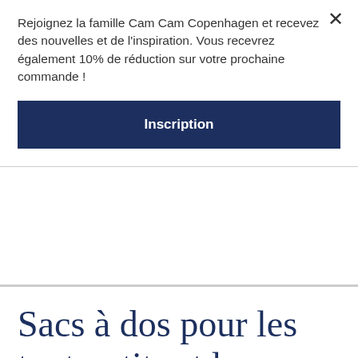Rejoignez la famille Cam Cam Copenhagen et recevez des nouvelles et de l'inspiration. Vous recevrez également 10% de réduction sur votre prochaine commande !
Inscription
Sacs à dos pour les tout-petits et les enfants
🍪 Les cookies facilitent la fourniture de nos services. Vous acceptez l'utilisation de cookies en utilisant notre site web. En savoir plus
Ok